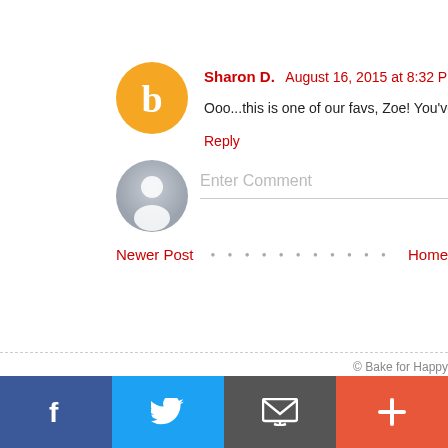[Figure (illustration): Orange circular Blogger avatar icon with white letter B in center]
Sharon D.  August 16, 2015 at 8:32 PM
Ooo...this is one of our favs, Zoe! You've certainly done
Reply
[Figure (illustration): Gray circular generic user avatar icon]
Enter Comment
Newer Post
Home
© Bake for Happy
[Figure (infographic): Social media share bar with Facebook (blue), Twitter (blue), Email (gray), Plus (orange-red) buttons]